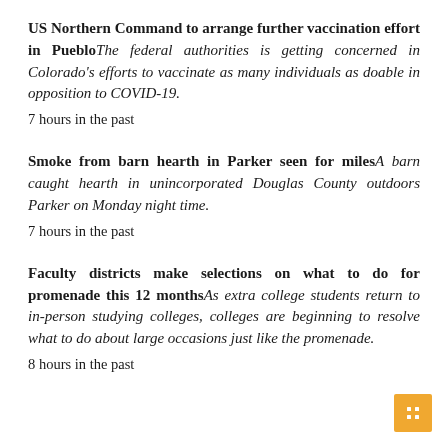US Northern Command to arrange further vaccination effort in Pueblo — The federal authorities is getting concerned in Colorado's efforts to vaccinate as many individuals as doable in opposition to COVID-19.
7 hours in the past
Smoke from barn hearth in Parker seen for miles — A barn caught hearth in unincorporated Douglas County outdoors Parker on Monday night time.
7 hours in the past
Faculty districts make selections on what to do for promenade this 12 months — As extra college students return to in-person studying colleges, colleges are beginning to resolve what to do about large occasions just like the promenade.
8 hours in the past